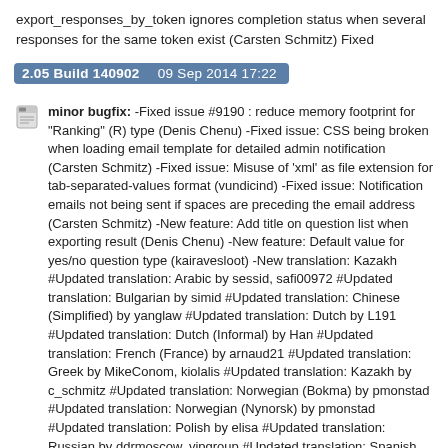export_responses_by_token ignores completion status when several responses for the same token exist (Carsten Schmitz) Fixed
2.05 Build 140902   09 Sep 2014 17:22
minor bugfix: -Fixed issue #9190 : reduce memory footprint for "Ranking" (R) type (Denis Chenu) -Fixed issue: CSS being broken when loading email template for detailed admin notification (Carsten Schmitz) -Fixed issue: Misuse of 'xml' as file extension for tab-separated-values format (vundicind) -Fixed issue: Notification emails not being sent if spaces are preceding the email address (Carsten Schmitz) -New feature: Add title on question list when exporting result (Denis Chenu) -New feature: Default value for yes/no question type (kairavesloot) -New translation: Kazakh #Updated translation: Arabic by sessid, safi00972 #Updated translation: Bulgarian by simid #Updated translation: Chinese (Simplified) by yanglaw #Updated translation: Dutch by L191 #Updated translation: Dutch (Informal) by Han #Updated translation: French (France) by arnaud21 #Updated translation: Greek by MikeConom, kiolalis #Updated translation: Kazakh by c_schmitz #Updated translation: Norwegian (Bokma) by pmonstad #Updated translation: Norwegian (Nynorsk) by pmonstad #Updated translation: Polish by elisa #Updated translation: Russian by ddrmoscow, vipgroup #Updated translation: Spanish (Mexican) by c_schmitz #Updated translation: Spanish (Spain) by aesteban #Updated translation: Swedish by maxzomborszki #Updated translation: Tamil by apmuthu